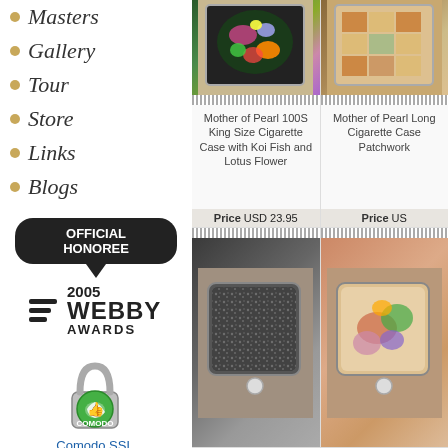Masters
Gallery
Tour
Store
Links
Blogs
[Figure (logo): Official Honoree 2005 Webby Awards badge]
[Figure (logo): Comodo Secure padlock badge]
Comodo SSL
[Figure (infographic): Secure Credit Card Payments by PayPal with Visa, Mastercard, Amex, Discover card icons]
[Figure (photo): Mother of Pearl 100S King Size Cigarette Case with Koi Fish and Lotus Flower - top view]
[Figure (photo): Mother of Pearl Long Cigarette Case with Patchwork design - top view]
Mother of Pearl 100S King Size Cigarette Case with Koi Fish and Lotus Flower
Mother of Pearl Long Cigarette Case Patchwork
Price USD 23.95
Price USD ...
[Figure (photo): Cigarette case with dark speckled Mother of Pearl design]
[Figure (photo): Cigarette case with colorful floral Mother of Pearl design]